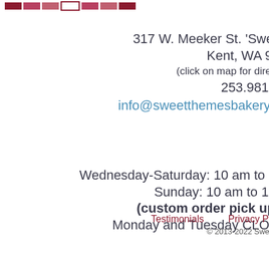[Figure (logo): Bakery logo color bar segments in maroon/pink colors]
317 W. Meeker St. 'Sweet'
Kent, WA 980
(click on map for directio
253.981.49
info@sweetthemesbakery.co
Wednesday-Saturday: 10 am to 5 p
Sunday: 10 am to 11 a
(custom order pick up o
Monday and Tuesday CLOSE
Testimonials    Privacy Pol
© 2013-2022 Sweet Th
Web